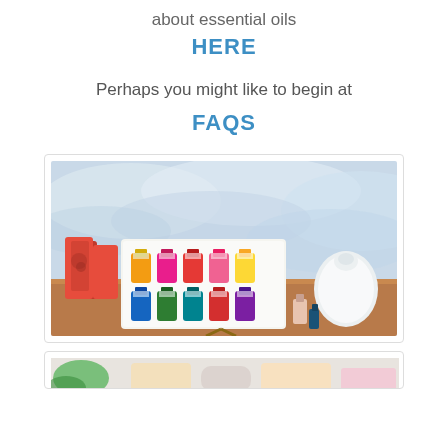about essential oils
HERE
Perhaps you might like to begin at
FAQS
[Figure (photo): Photo of Young Living essential oils starter kit: a set of small essential oil bottles displayed on a white tray, red pouch/packaging on the left, a white diffuser on the right, and small bottles in the foreground, all on a wooden surface with a light blue watercolor painted wall background.]
[Figure (photo): Partial view of another photo at the bottom of the page, showing what appears to be green leaves and light colored items on a surface.]